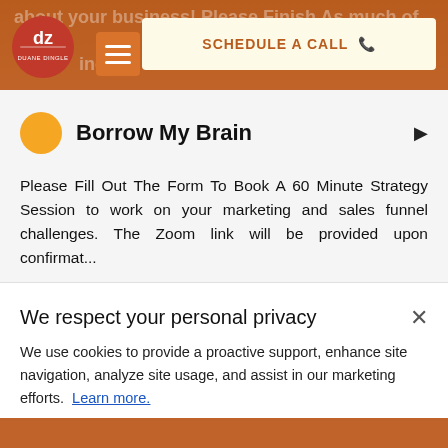about your business! Please Finish As much of the ... marketing ... movement ...
[Figure (logo): DZ Duane Dingle logo - red/orange circular logo with 'dz' letters]
Borrow My Brain
Please Fill Out The Form To Book A 60 Minute Strategy Session to work on your marketing and sales funnel challenges. The Zoom link will be provided upon confirmat...
We respect your personal privacy
We use cookies to provide a proactive support, enhance site navigation, analyze site usage, and assist in our marketing efforts.  Learn more.